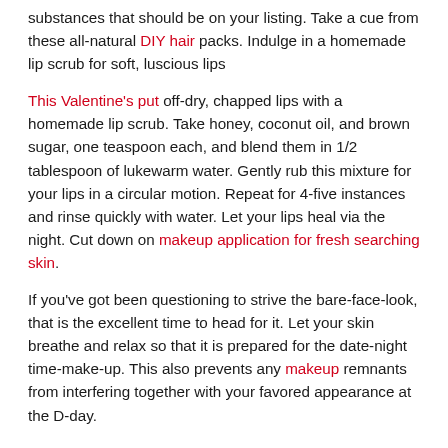substances that should be on your listing. Take a cue from these all-natural DIY hair packs. Indulge in a homemade lip scrub for soft, luscious lips
This Valentine's put off-dry, chapped lips with a homemade lip scrub. Take honey, coconut oil, and brown sugar, one teaspoon each, and blend them in 1/2 tablespoon of lukewarm water. Gently rub this mixture for your lips in a circular motion. Repeat for 4-five instances and rinse quickly with water. Let your lips heal via the night. Cut down on makeup application for fresh searching skin.
If you've got been questioning to strive the bare-face-look, that is the excellent time to head for it. Let your skin breathe and relax so that it is prepared for the date-night time-make-up. This also prevents any makeup remnants from interfering together with your favored appearance at the D-day.